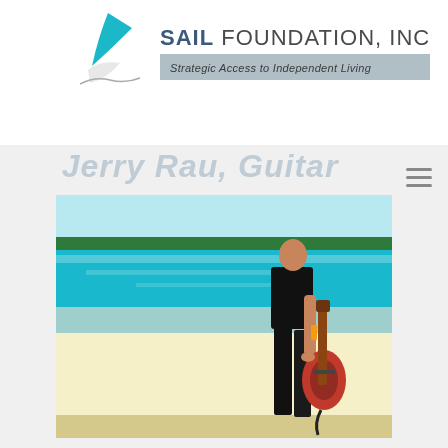[Figure (logo): SAIL Foundation Inc logo with blue sail and wave graphic, text reads SAIL FOUNDATION, INC with tagline Strategic Access to Independent Living on a grey bar]
[Figure (photo): Person standing on a beach holding a red electric guitar at their side, wearing black clothing. Blue water and green treeline visible in background, white sandy beach in foreground.]